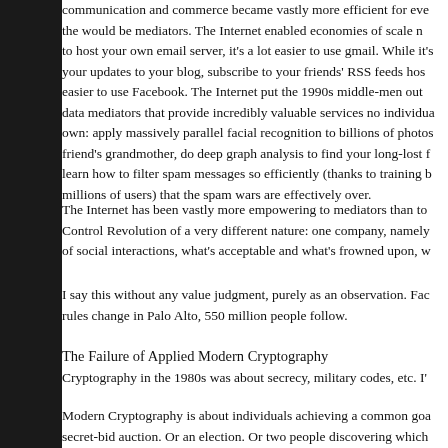communication and commerce became vastly more efficient for everyone but the would be mediators. The Internet enabled economies of scale needed to host your own email server, it's a lot easier to use gmail. While it's your updates to your blog, subscribe to your friends' RSS feeds hos easier to use Facebook. The Internet put the 1990s middle-men out data mediators that provide incredibly valuable services no individual own: apply massively parallel facial recognition to billions of photos friend's grandmother, do deep graph analysis to find your long-lost f learn how to filter spam messages so efficiently (thanks to training b millions of users) that the spam wars are effectively over.
The Internet has been vastly more empowering to mediators than to Control Revolution of a very different nature: one company, namely of social interactions, what's acceptable and what's frowned upon, w
I say this without any value judgment, purely as an observation. Fac rules change in Palo Alto, 550 million people follow.
The Failure of Applied Modern Cryptography
Cryptography in the 1980s was about secrecy, military codes, etc. I'
Modern Cryptography is about individuals achieving a common goa secret-bid auction. Or an election. Or two people discovering which revealing the friends they don't have in common. In all of these case